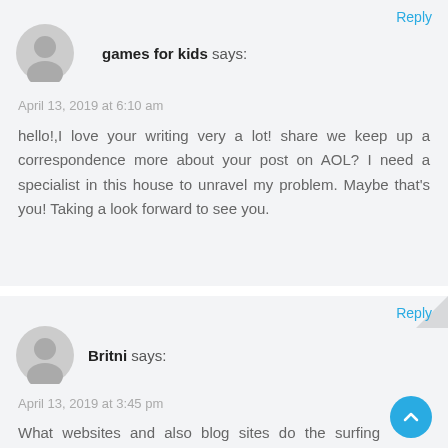Reply
games for kids says:
April 13, 2019 at 6:10 am
hello!,I love your writing very a lot! share we keep up a correspondence more about your post on AOL? I need a specialist in this house to unravel my problem. Maybe that's you! Taking a look forward to see you.
Reply
Britni says:
April 13, 2019 at 3:45 pm
What websites and also blog sites do the surfing community connect most on?